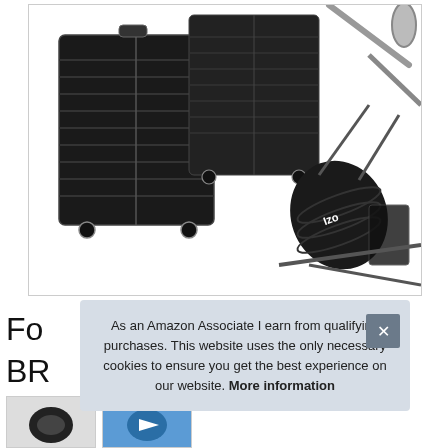[Figure (photo): Product collage showing two black hardshell suitcases with wheels on the left and a black cylindrical bike handlebar bag mounted on a bicycle handlebar on the right, all against a white background with a light border.]
Fo
BR
As an Amazon Associate I earn from qualifying purchases. This website uses the only necessary cookies to ensure you get the best experience on our website. More information
[Figure (photo): Thumbnail images of products at the bottom of the page, partially visible]